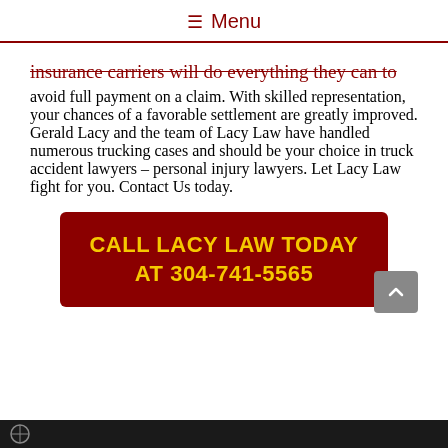≡ Menu
insurance carriers will do everything they can to avoid full payment on a claim. With skilled representation, your chances of a favorable settlement are greatly improved. Gerald Lacy and the team of Lacy Law have handled numerous trucking cases and should be your choice in truck accident lawyers – personal injury lawyers. Let Lacy Law fight for you. Contact Us today.
CALL LACY LAW TODAY AT 304-741-5565
[Figure (photo): Bottom image strip showing a dark background with partial logo or vehicle image]